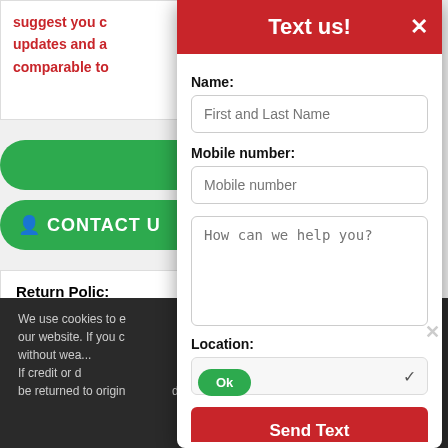suggest you c... updates and a... comparable to...
[Figure (screenshot): Green pill-shaped buttons on left side of page, including CONTACT U... button]
Return Policy:
Installation
Text us!
Name:
First and Last Name
Mobile number:
Mobile number
How can we help you?
Location:
Send Text
Powered by Ikeono
We use cookies to e... our website. If you c... without wea... If credit or d... be returned to origin... d. If cash was used,